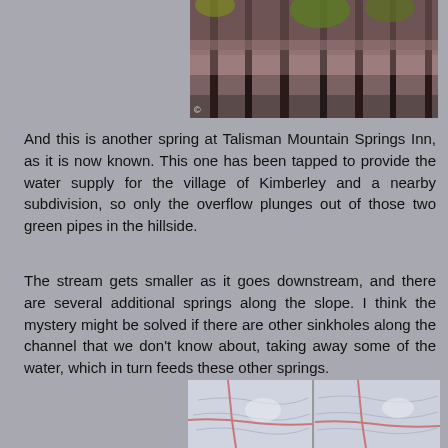[Figure (photo): Forest scene with tall thin tree trunks and leafy undergrowth, autumn colors, with a small copyright symbol visible at bottom left]
And this is another spring at Talisman Mountain Springs Inn, as it is now known.  This one has been tapped to provide the water supply for the village of Kimberley and a nearby subdivision, so only the overflow plunges out of those two green pipes in the hillside.
The stream gets smaller as it goes downstream, and there are several additional springs along the slope.  I think the mystery might be solved if there are other sinkholes along the channel that we don't know about, taking away some of the water, which in turn feeds these other springs.
[Figure (map): Two side-by-side topographic map sections showing terrain lines and roads in muted blue-grey and pink tones]